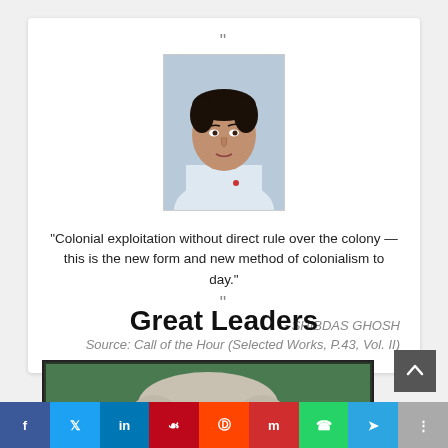[Figure (photo): Portrait photograph of Shibdas Ghosh, a middle-aged South Asian man in a white shirt, looking slightly upward, against a light blue background.]
“Colonial exploitation without direct rule over the colony — this is the new form and new method of colonialism to day.”
~SHIBDAS GHOSH
Source: Call of the Hour (Selected Works, P.43, Vol. II)
Great Leaders
[Figure (photo): Partial image of another leader, showing the top of a head with gray hair against a green background, in a dark-bordered frame.]
f  t  in  p  reddit  m  whatsapp  telegram  more